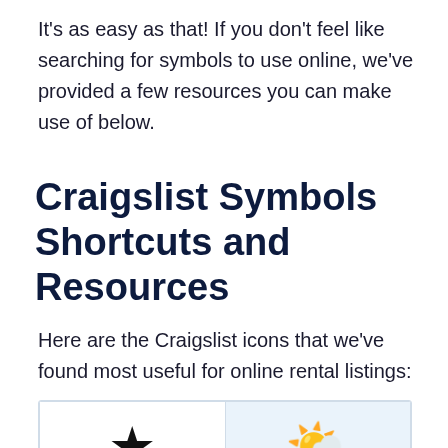It's as easy as that! If you don't feel like searching for symbols to use online, we've provided a few resources you can make use of below.
Craigslist Symbols Shortcuts and Resources
Here are the Craigslist icons that we've found most useful for online rental listings:
| ★ (black star) | ☀ (sun emoji) |